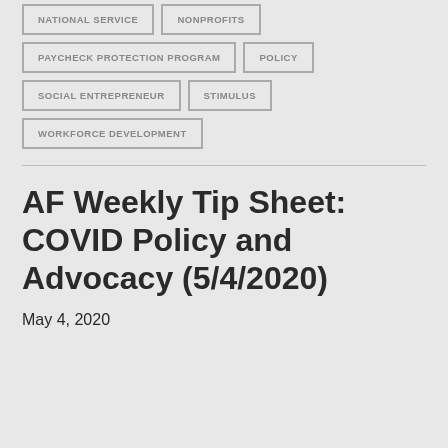NATIONAL SERVICE
NONPROFITS
PAYCHECK PROTECTION PROGRAM
POLICY
SOCIAL ENTREPRENEUR
STIMULUS
WORKFORCE DEVELOPMENT
AF Weekly Tip Sheet: COVID Policy and Advocacy (5/4/2020)
May 4, 2020